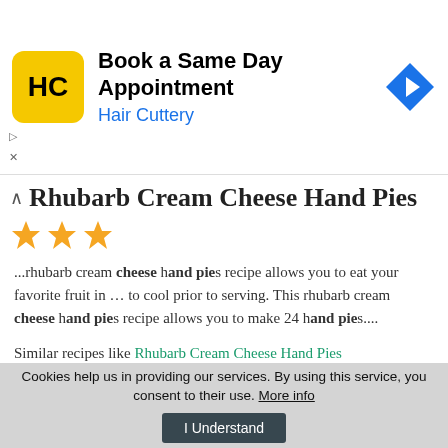[Figure (screenshot): Advertisement banner for Hair Cuttery with logo, 'Book a Same Day Appointment' text, and a navigation arrow icon]
Rhubarb Cream Cheese Hand Pies
[Figure (other): Three orange star rating icons]
...rhubarb cream cheese hand pies recipe allows you to eat your favorite fruit in ... to cool prior to serving. This rhubarb cream cheese hand pies recipe allows you to make 24 hand pies....
Similar recipes like Rhubarb Cream Cheese Hand Pies
❤ 8   👍 165   🕐 45 min
Cookies help us in providing our services. By using this service, you consent to their use. More info  I Understand